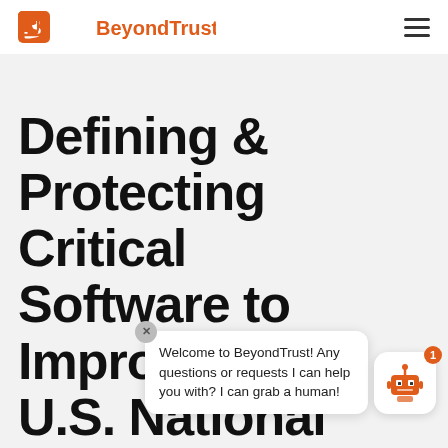BeyondTrust
Defining & Protecting Critical Software to Improve U.S. National Cybersecurity Supply Chain
Welcome to BeyondTrust! Any questions or requests I can help you with? I can grab a human!